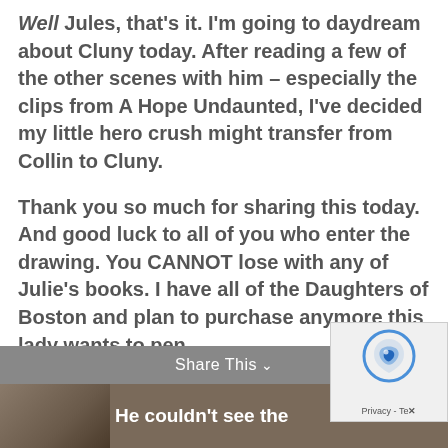Well Jules, that's it. I'm going to daydream about Cluny today. After reading a few of the other scenes with him – especially the clips from A Hope Undaunted, I've decided my little hero crush might transfer from Collin to Cluny.
Thank you so much for sharing this today. And good luck to all of you who enter the drawing. You CANNOT lose with any of Julie's books. I have all of the Daughters of Boston and plan to purchase anymore this lady wants to pen.
Inspirational First Encounter
He couldn't see the